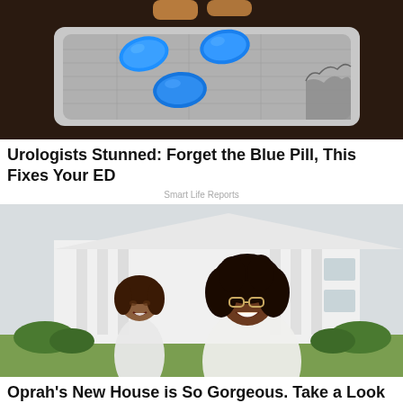[Figure (photo): Blue pills in blister pack held by fingers on dark background]
Urologists Stunned: Forget the Blue Pill, This Fixes Your ED
Smart Life Reports
[Figure (photo): Two women smiling in front of a large white building with columns, green lawn visible]
Oprah's New House is So Gorgeous. Take a Look Inside